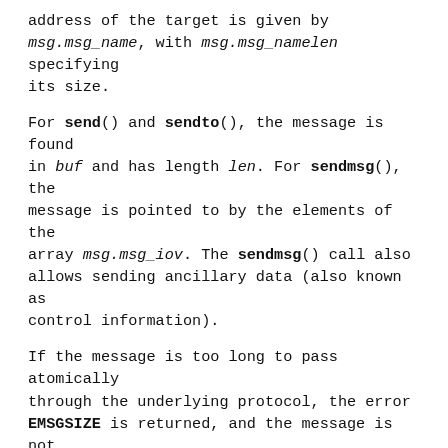address of the target is given by msg.msg_name, with msg.msg_namelen specifying its size.
For send() and sendto(), the message is found in buf and has length len. For sendmsg(), the message is pointed to by the elements of the array msg.msg_iov. The sendmsg() call also allows sending ancillary data (also known as control information).
If the message is too long to pass atomically through the underlying protocol, the error EMSGSIZE is returned, and the message is not transmitted.
No indication of failure to deliver is implicit in a send(). Locally detected errors are indicated by a return value of -1.
When the message does not fit into the send buffer of the socket, send() normally blocks, unless the socket has been placed in nonblocking I/O mode. In nonblocking mode it